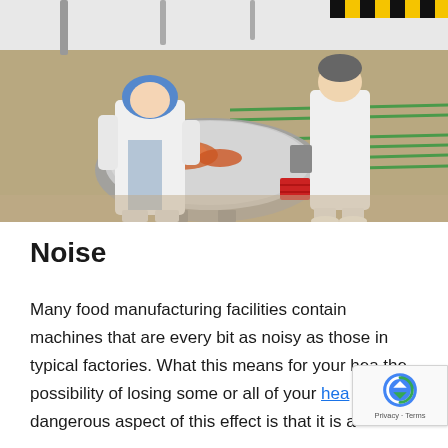[Figure (photo): Two workers in white lab coats and hair nets working at a food processing conveyor belt in a large food manufacturing facility. One worker faces away sorting sausages/meat products on a circular sorting table. Another worker stands further back observing the production line with green-railed conveyor belts.]
Noise
Many food manufacturing facilities contain machines that are every bit as noisy as those in typical factories. What this means for your hea the possibility of losing some or all of your hea The dangerous aspect of this effect is that it is a